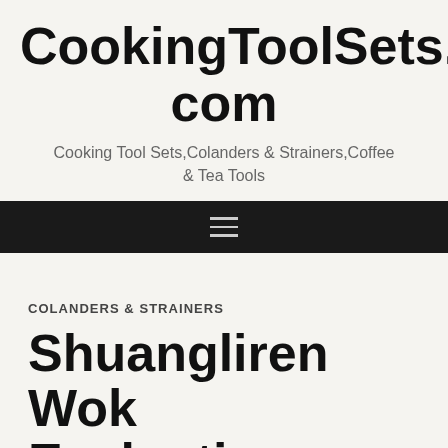CookingToolSets.com
Cooking Tool Sets,Colanders & Strainers,Coffee & Tea Tools
[Figure (other): Black navigation bar with hamburger menu icon (three horizontal lines)]
COLANDERS & STRAINERS
Shuangliren Wok Evaluation: